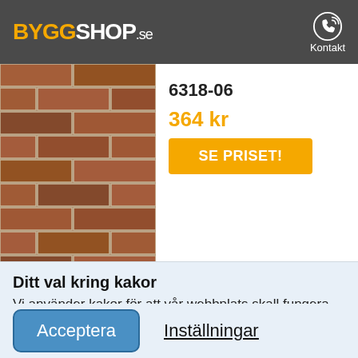BYGGSHOP.se | Kontakt
6318-06
364 kr
SE PRISET!
[Figure (photo): Close-up photo of a red brick wall with aged mortar]
Ditt val kring kakor
Vi använder kakor för att vår webbplats skall fungera så bra som möjligt samt för marknadsföring och statistik.
Acceptera
Inställningar